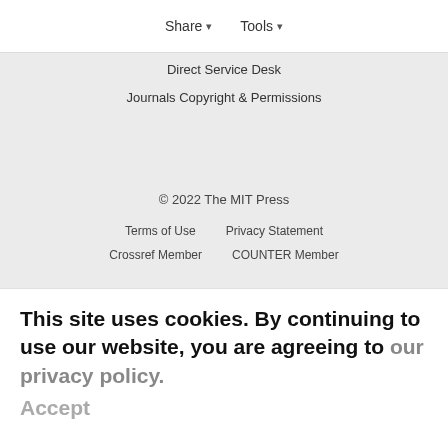Contact Us
Share ▾   Tools ▾
Direct Service Desk
Journals Copyright & Permissions
© 2022 The MIT Press
Terms of Use
Privacy Statement
Crossref Member
COUNTER Member
Accessibility/VPAT
The MIT Press colophon is registered in the U.S. Patent and Trademark Office
This site uses cookies. By continuing to use our website, you are agreeing to our privacy policy. Accept